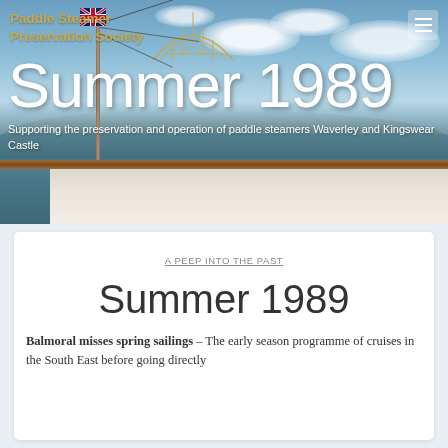[Figure (photo): Hero image of a paddle steamer bow/deck with a Union Jack flag, teak railing, and sea/sky background with clouds and distant hills]
Paddle Steamer Preservation Society
Summer 1989
Supporting the preservation and operation of paddle steamers Waverley and Kingswear Castle
A PEEP INTO THE PAST
Summer 1989
Balmoral misses spring sailings – The early season programme of cruises in the South East before going directly...